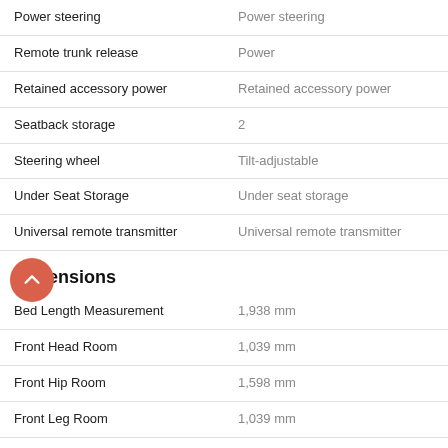| Feature | Value |
| --- | --- |
| Power steering | Power steering |
| Remote trunk release | Power |
| Retained accessory power | Retained accessory power |
| Seatback storage | 2 |
| Steering wheel | Tilt-adjustable |
| Under Seat Storage | Under seat storage |
| Universal remote transmitter | Universal remote transmitter |
Dimensions
| Dimension | Value |
| --- | --- |
| Bed Length Measurement | 1,938 mm |
| Front Head Room | 1,039 mm |
| Front Hip Room | 1,598 mm |
| Front Leg Room | 1,039 mm |
| Front Shoulder Room | 1,674 mm |
| Front track | 1,720 mm |
| Overall height | 2,027 mm |
| Overall Length | 6,030 mm |